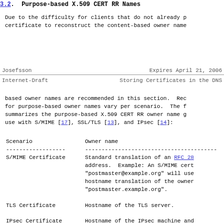3.2.  Purpose-based X.509 CERT RR Names
Due to the difficulty for clients that do not already p certificate to reconstruct the content-based owner name
Josefsson                    Expires April 21, 2006
Internet-Draft       Storing Certificates in the DNS
based owner names are recommended in this section.  Rec for purpose-based owner names vary per scenario.  The f summarizes the purpose-based X.509 CERT RR owner name g use with S/MIME [17], SSL/TLS [13], and IPsec [14]:
| Scenario | Owner name |
| --- | --- |
| S/MIME Certificate | Standard translation of an RFC 28 address.  Example: An S/MIME cert "postmaster@example.org" will use hostname translation of the owner "postmaster.example.org". |
| TLS Certificate | Hostname of the TLS server. |
| IPsec Certificate | Hostname of the IPsec machine and or IPv6 addresses, the fully qual |